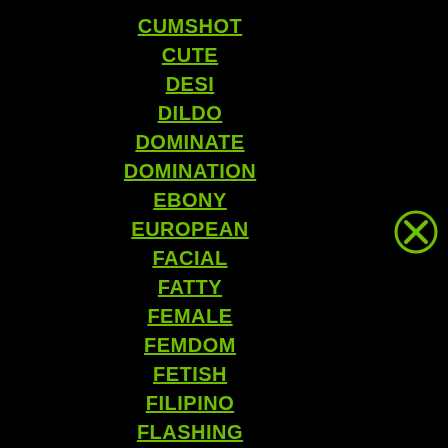CUMSHOT
CUTE
DESI
DILDO
DOMINATE
DOMINATION
EBONY
EUROPEAN
FACIAL
FATTY
FEMALE
FEMDOM
FETISH
FILIPINO
FLASHING
[Figure (other): Close/cancel button — circle with X inside, green border and X on black background]